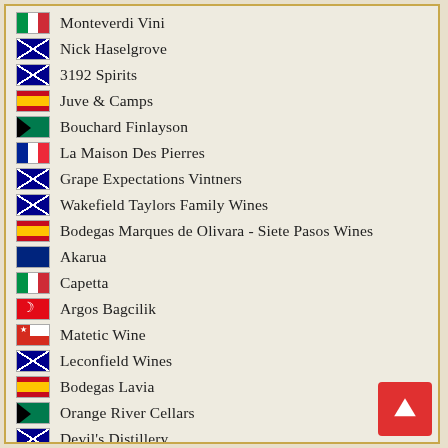Monteverdi Vini
Nick Haselgrove
3192 Spirits
Juve & Camps
Bouchard Finlayson
La Maison Des Pierres
Grape Expectations Vintners
Wakefield Taylors Family Wines
Bodegas Marques de Olivara - Siete Pasos Wines
Akarua
Capetta
Argos Bagcilik
Matetic Wine
Leconfield Wines
Bodegas Lavia
Orange River Cellars
Devil's Distillery
Andrew Peace
Schild Estate Wines
Domeniul Coroanei Segarcea